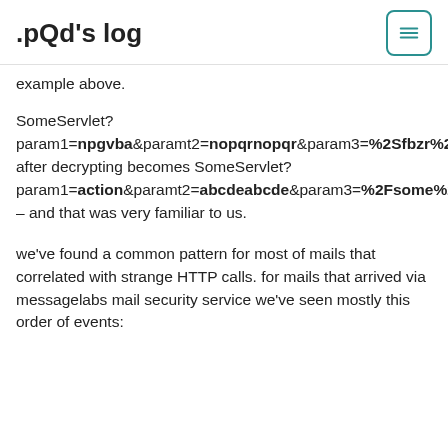.pQd's log
example above.
SomeServlet?param1=npgvba&paramt2=nopqrnopqr&param3=%2Sfbzr%2Scngu%2S after decrypting becomes SomeServlet?param1=action&paramt2=abcdeabcde&param3=%2Fsome%2Fpath%2F – and that was very familiar to us.
we've found a common pattern for most of mails that correlated with strange HTTP calls. for mails that arrived via messagelabs mail security service we've seen mostly this order of events: